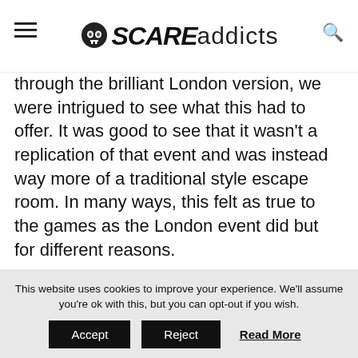SCARE addicts
through the brilliant London version, we were intrigued to see what this had to offer. It was good to see that it wasn't a replication of that event and was instead way more of a traditional style escape room. In many ways, this felt as true to the games as the London event did but for different reasons.
This website uses cookies to improve your experience. We'll assume you're ok with this, but you can opt-out if you wish. Accept Reject Read More